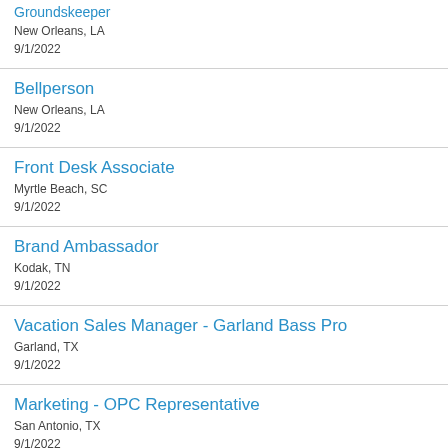Groundskeeper
New Orleans, LA
9/1/2022
Bellperson
New Orleans, LA
9/1/2022
Front Desk Associate
Myrtle Beach, SC
9/1/2022
Brand Ambassador
Kodak, TN
9/1/2022
Vacation Sales Manager - Garland Bass Pro
Garland, TX
9/1/2022
Marketing - OPC Representative
San Antonio, TX
9/1/2022
Sales - In House Sales Representative